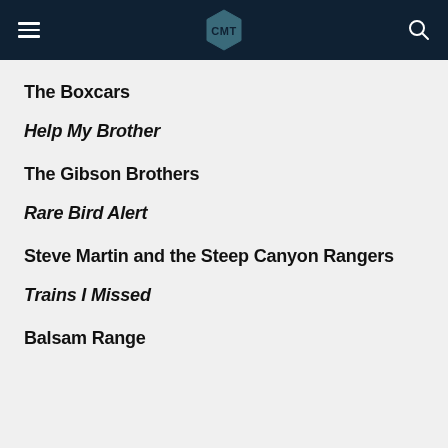CMT
The Boxcars
Help My Brother
The Gibson Brothers
Rare Bird Alert
Steve Martin and the Steep Canyon Rangers
Trains I Missed
Balsam Range